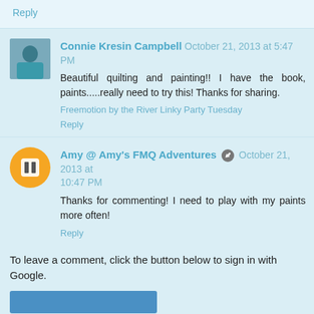Reply
Connie Kresin Campbell  October 21, 2013 at 5:47 PM
Beautiful quilting and painting!! I have the book, paints.....really need to try this! Thanks for sharing.
Freemotion by the River Linky Party Tuesday
Reply
Amy @ Amy's FMQ Adventures  October 21, 2013 at 10:47 PM
Thanks for commenting! I need to play with my paints more often!
Reply
To leave a comment, click the button below to sign in with Google.